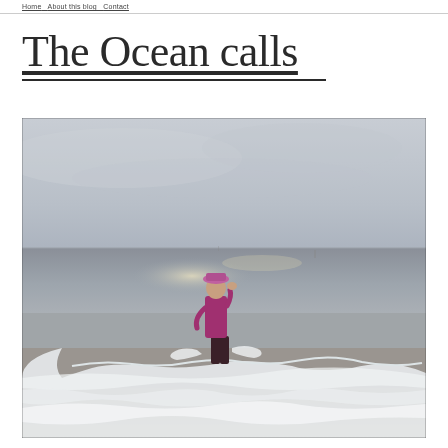The Ocean calls
[Figure (photo): A person in a pink/purple top and hat standing in shallow ocean waves on a beach, facing away from the camera toward the ocean. The scene is overcast with grey skies. Foamy white waves surround the person's feet and legs.]